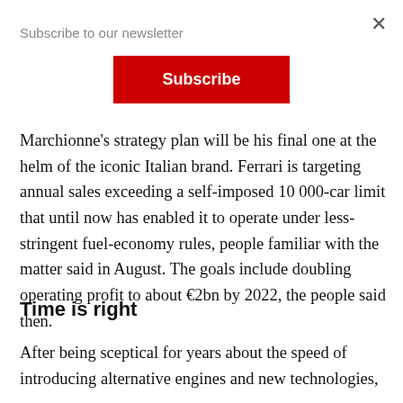Subscribe to our newsletter
[Figure (other): Red Subscribe button on white background]
Marchionne's strategy plan will be his final one at the helm of the iconic Italian brand. Ferrari is targeting annual sales exceeding a self-imposed 10 000-car limit that until now has enabled it to operate under less-stringent fuel-economy rules, people familiar with the matter said in August. The goals include doubling operating profit to about €2bn by 2022, the people said then.
Time is right
After being sceptical for years about the speed of introducing alternative engines and new technologies,